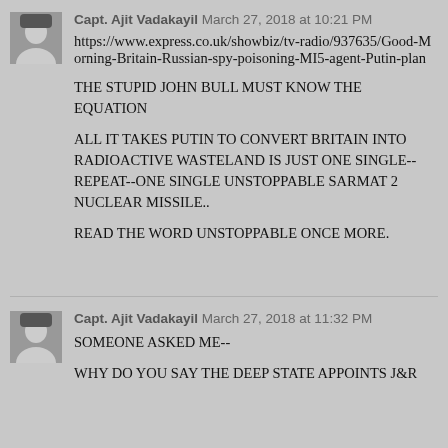Capt. Ajit Vadakayil  March 27, 2018 at 10:21 PM
https://www.express.co.uk/showbiz/tv-radio/937635/Good-Morning-Britain-Russian-spy-poisoning-MI5-agent-Putin-plan
THE STUPID JOHN BULL MUST KNOW THE EQUATION
ALL IT TAKES PUTIN TO CONVERT BRITAIN INTO RADIOACTIVE WASTELAND IS JUST ONE SINGLE--REPEAT--ONE SINGLE UNSTOPPABLE SARMAT 2 NUCLEAR MISSILE..
READ THE WORD UNSTOPPABLE ONCE MORE.
Capt. Ajit Vadakayil  March 27, 2018 at 11:32 PM
SOMEONE ASKED ME--
WHY DO YOU SAY THE DEEP STATE APPOINTS J&R